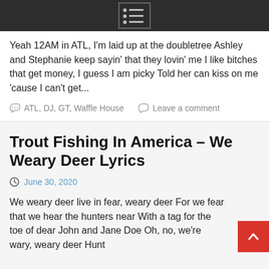Yeah 12AM in ATL, I'm laid up at the doubletree Ashley and Stephanie keep sayin' that they lovin' me I like bitches that get money, I guess I am picky Told her can kiss on me 'cause I can't get...
ATL, DJ, GT, Waffle House   Leave a comment
Trout Fishing In America – We Weary Deer Lyrics
June 30, 2020
We weary deer live in fear, weary deer For we fear that we hear the hunters near With a tag for the toe of dear John and Jane Doe Oh, no, we're wary, weary deer Hunt